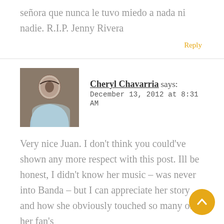señora que nunca le tuvo miedo a nada ni nadie. R.I.P. Jenny Rivera
Reply
Cheryl Chavarria says:
December 13, 2012 at 8:31 AM
[Figure (photo): Profile photo of Cheryl Chavarria, a woman with dark hair wearing a light blue top]
Very nice Juan. I don't think you could've shown any more respect with this post. Ill be honest, I didn't know her music – was never into Banda – but I can appreciate her story and how she obviously touched so many of her fan's